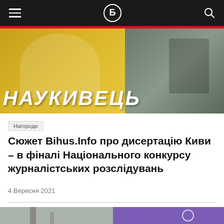Bihus.Info navigation bar
[Figure (photo): Hero image showing a person in a white shirt on a golden/yellow background on the left, and another person holding a framed award certificate on a green background on the right. Large italic bold white text overlay reads НАУКИВЕЦЬ]
Нагороди
Сюжет Bihus.Info про дисертацію Киви – в фіналі Національного конкурсу журналістських розслідувань
4 Вересня 2021
[Figure (photo): Second article image showing an industrial chimney on the left half (grey background) and a purple background with a satellite or space-related graphic on the right half]